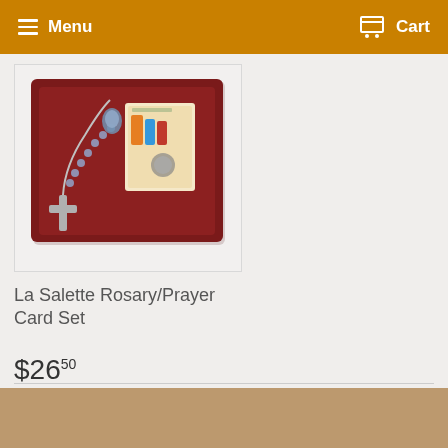Menu  Cart
[Figure (photo): La Salette Rosary and Prayer Card Set displayed in a dark red velvet-lined box. The box contains a silver rosary with a cross and a colorful prayer card depicting figures in traditional dress.]
La Salette Rosary/Prayer Card Set
$26.50